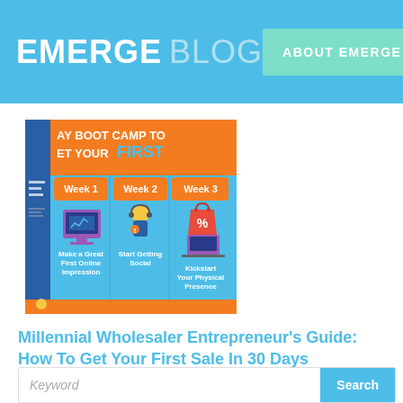EMERGE BLOG | ABOUT EMERGE
[Figure (infographic): 30-Day Boot Camp infographic showing Week 1 (Make a Great First Online Impression), Week 2 (Start Getting Social), Week 3 (Kickstart Your Physical Presence) with icons for each week on a blue and orange background.]
Millennial Wholesaler Entrepreneur’s Guide: How To Get Your First Sale In 30 Days